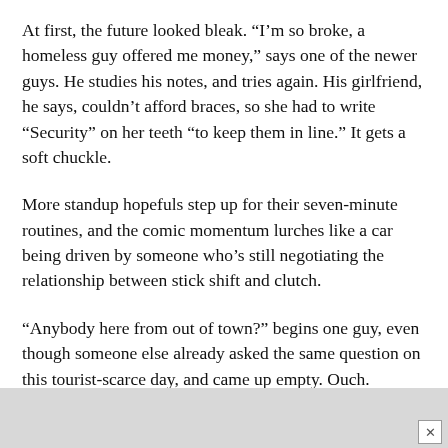At first, the future looked bleak. “I’m so broke, a homeless guy offered me money,” says one of the newer guys. He studies his notes, and tries again. His girlfriend, he says, couldn’t afford braces, so she had to write “Security” on her teeth “to keep them in line.” It gets a soft chuckle.
More standup hopefuls step up for their seven-minute routines, and the comic momentum lurches like a car being driven by someone who’s still negotiating the relationship between stick shift and clutch.
“Anybody here from out of town?” begins one guy, even though someone else already asked the same question on this tourist-scarce day, and came up empty. Ouch. Another guy starts talking about Halloween costumes (did I mention it’s January?). He likes the idea of dressing like a banana